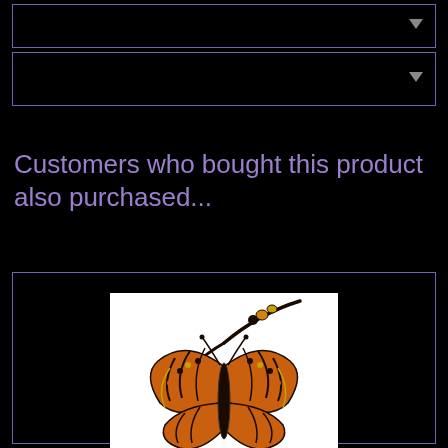[Figure (screenshot): Dropdown/select box 1 with dark background and purple border, arrow indicator on right]
[Figure (screenshot): Dropdown/select box 2 with dark background and purple border, arrow indicator on right]
Customers who bought this product also purchased...
[Figure (photo): Photo of a beaded butterfly pendant/necklace with orange, yellow, and black beadwork on white background, inside a purple-bordered box]